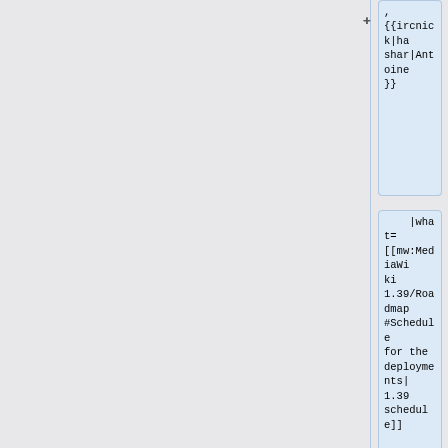,
{{ircnick|hashar|Antoine}}
|what=
[[mw:MediaWiki
1.39/Roadmap
#Schedule
for the
deployments|
1.39
schedule]]
{{DeployOneWeekMini|1.39.0-wmf.10->1.39.0-wmf.12|1.39.0-wmf.10|1.39.0-wmf.10}}